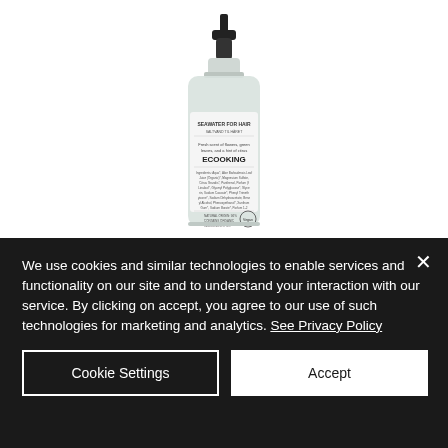[Figure (photo): A clear spray bottle with black pump top labeled 'SEAWATER FOR HAIR / SALTVAND TIL HÅRET' by ECOOKING brand, showing ingredient list and a Vegan logo. The bottle contains a clear liquid product for hair.]
We use cookies and similar technologies to enable services and functionality on our site and to understand your interaction with our service. By clicking on accept, you agree to our use of such technologies for marketing and analytics. See Privacy Policy
Cookie Settings
Accept